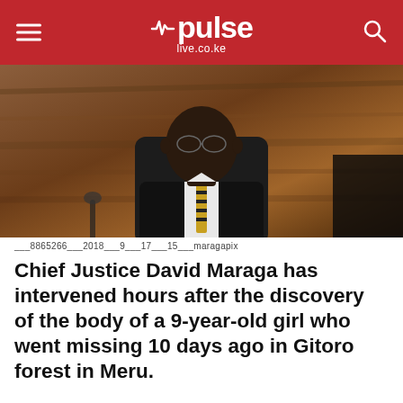pulse live.co.ke
[Figure (photo): Chief Justice David Maraga seated in a black office chair, wearing a black suit with a gold and black striped tie, against a wooden background]
___8865266___2018___9___17___15___maragapix
Chief Justice David Maraga has intervened hours after the discovery of the body of a 9-year-old girl who went missing 10 days ago in Gitoro forest in Meru.